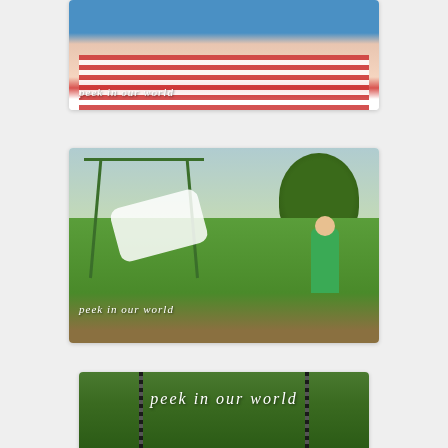[Figure (photo): Partially visible photo of a baby wearing a red and white striped outfit with blue background, with 'peek in our world' text overlay at bottom left]
[Figure (photo): Family at a swing set in a park. An adult is swinging high while others stand watching and playing on the swings. Green grass, trees in background. Text overlay 'peek in our world' at bottom left.]
[Figure (photo): Close-up of swing chains with blurred green background. Large white italic text 'peek in our world' overlaid in center. Child's hands visible at bottom holding the chains.]